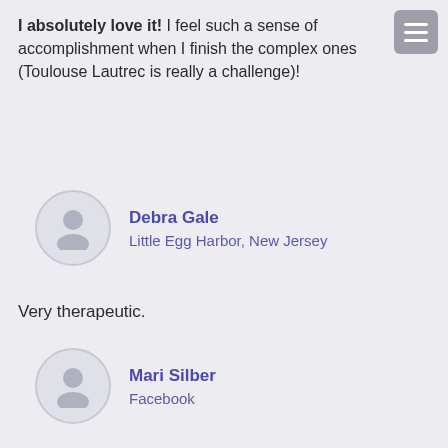I absolutely love it! I feel such a sense of accomplishment when I finish the complex ones (Toulouse Lautrec is really a challenge)!
[Figure (other): User profile avatar placeholder - Debra Gale]
Debra Gale
Little Egg Harbor, New Jersey
Very therapeutic.
[Figure (other): User profile avatar placeholder - Mari Silber]
Mari Silber
Facebook
I love SegPlay. I find myself using it as a fun mind challenge when I have nothing else to do. My mother loves it too.
[Figure (other): User profile avatar placeholder - Lori Matthies]
Lori Matthies